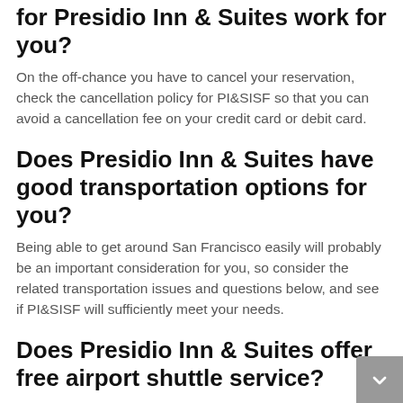for Presidio Inn & Suites work for you?
On the off-chance you have to cancel your reservation, check the cancellation policy for PI&SISF so that you can avoid a cancellation fee on your credit card or debit card.
Does Presidio Inn & Suites have good transportation options for you?
Being able to get around San Francisco easily will probably be an important consideration for you, so consider the related transportation issues and questions below, and see if PI&SISF will sufficiently meet your needs.
Does Presidio Inn & Suites offer free airport shuttle service?